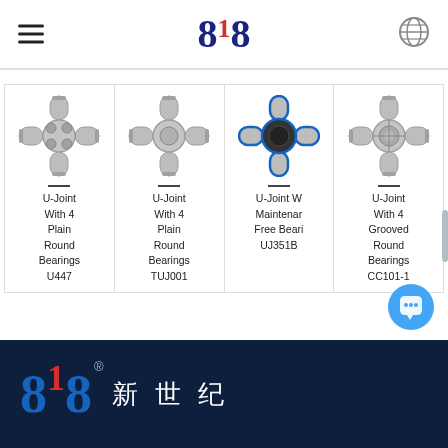818 (logo) with hamburger menu and globe icon
[Figure (photo): U-Joint With 4 Plain Round Bearings U447 - cross-shaped universal joint, metallic silver]
U-Joint
With 4
Plain
Round
Bearings
U447
[Figure (photo): U-Joint With 4 Plain Round Bearings TUJ001 - cross-shaped universal joint, metallic silver]
U-Joint
With 4
Plain
Round
Bearings
TUJ001
[Figure (photo): U-Joint With Maintenance Free Bearings UJ351B - cross-shaped universal joint with blue accent rings and dark center]
U-Joint W
Maintenar
Free Beari
UJ351B
[Figure (photo): U-Joint With 4 Grooved Round Bearings CC101-1 - cross-shaped universal joint, metallic silver]
U-Joint
With 4
Grooved
Round
Bearings
CC101-1
818 ® 新 世 纪